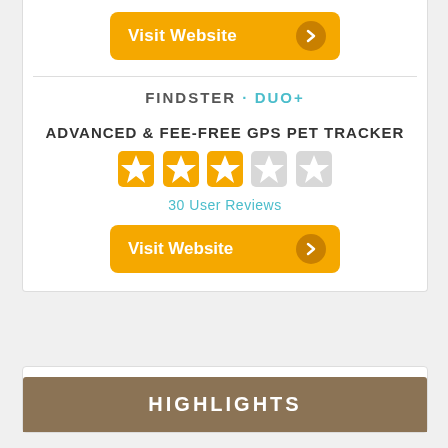[Figure (other): Orange 'Visit Website' button with right arrow circle icon at top of page]
FINDSTER · DUO+
ADVANCED & FEE-FREE GPS PET TRACKER
[Figure (other): 3 filled orange star rating and 2 empty grey stars out of 5]
30 User Reviews
[Figure (other): Orange 'Visit Website' button with right arrow circle icon]
HIGHLIGHTS